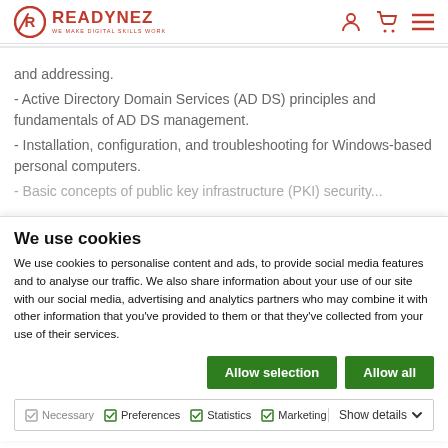READYNEZ — WE MAKE DIGITAL SKILLS WORK
and addressing.
- Active Directory Domain Services (AD DS) principles and fundamentals of AD DS management.
- Installation, configuration, and troubleshooting for Windows-based personal computers.
- Basic concepts of public key infrastructure (PKI) security...
We use cookies
We use cookies to personalise content and ads, to provide social media features and to analyse our traffic. We also share information about your use of our site with our social media, advertising and analytics partners who may combine it with other information that you've provided to them or that they've collected from your use of their services.
Allow selection | Allow all
Necessary  Preferences  Statistics  Marketing  Show details